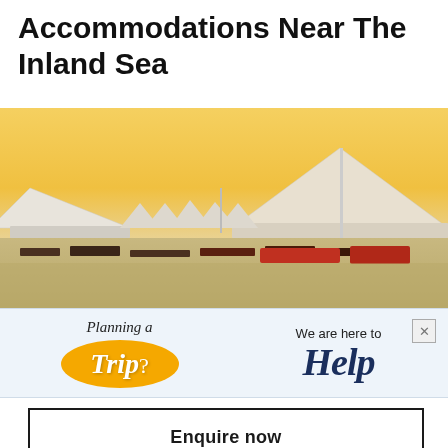Accommodations Near The Inland Sea
[Figure (photo): Desert camp with white tents and marquees under a golden sky, with outdoor seating and furniture arranged in front]
[Figure (infographic): Travel advertisement banner: 'Planning a Trip? We are here to Help' with orange blob and blue script text]
Enquire now